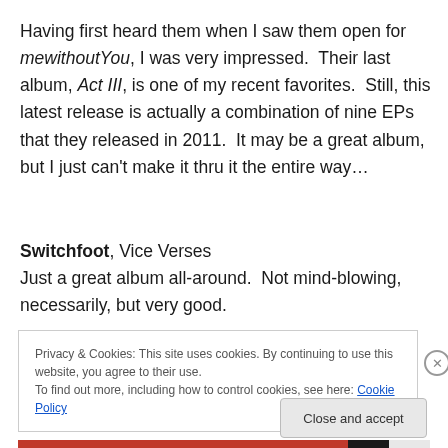Having first heard them when I saw them open for mewithoutYou, I was very impressed.  Their last album, Act III, is one of my recent favorites.  Still, this latest release is actually a combination of nine EPs that they released in 2011.  It may be a great album, but I just can't make it thru it the entire way…
Switchfoot, Vice Verses
Just a great album all-around.  Not mind-blowing, necessarily, but very good.
Privacy & Cookies: This site uses cookies. By continuing to use this website, you agree to their use.
To find out more, including how to control cookies, see here: Cookie Policy
Close and accept